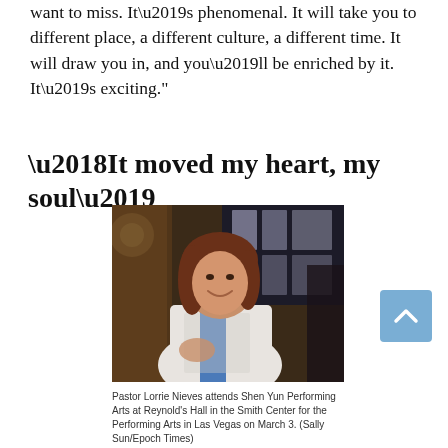want to miss. It’s phenomenal. It will take you to different place, a different culture, a different time. It will draw you in, and you’ll be enriched by it. It’s exciting.”
‘It moved my heart, my soul’
[Figure (photo): A woman (Pastor Lorrie Nieves) standing indoors, smiling at the camera, wearing a white top with a blue scarf, at Reynold’s Hall in the Smith Center for the Performing Arts in Las Vegas.]
Pastor Lorrie Nieves attends Shen Yun Performing Arts at Reynold’s Hall in the Smith Center for the Performing Arts in Las Vegas on March 3. (Sally Sun/Epoch Times)